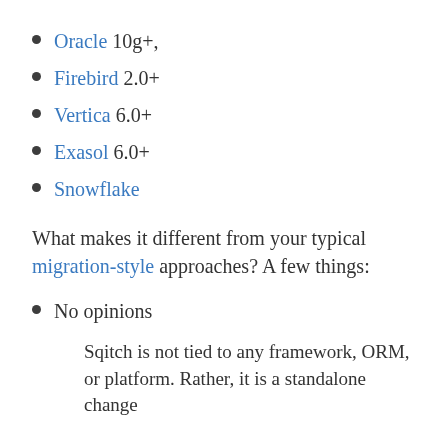Oracle 10g+,
Firebird 2.0+
Vertica 6.0+
Exasol 6.0+
Snowflake
What makes it different from your typical migration-style approaches? A few things:
No opinions
Sqitch is not tied to any framework, ORM, or platform. Rather, it is a standalone change